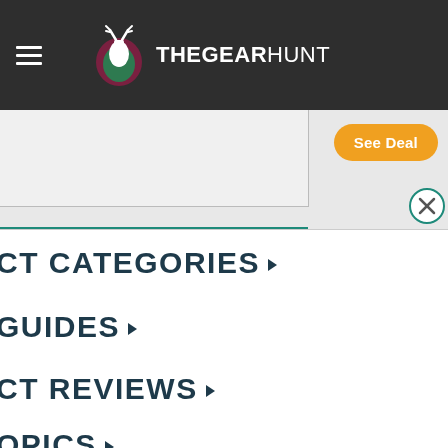THEGEARHUNT
[Figure (screenshot): See Deal button with orange rounded rectangle style on grey banner]
CT CATEGORIES
GUIDES
CT REVIEWS
OPICS